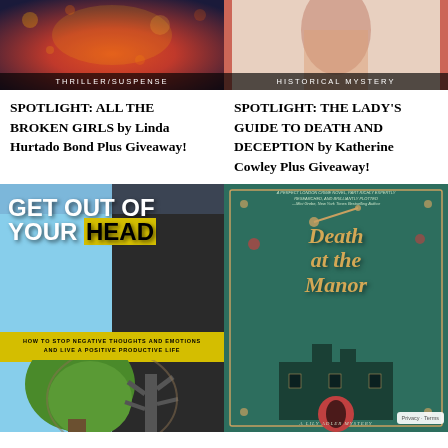[Figure (illustration): Book cover image for thriller/suspense with genre badge overlay reading THRILLER/SUSPENSE]
[Figure (illustration): Book cover image for historical mystery with genre badge overlay reading HISTORICAL MYSTERY]
SPOTLIGHT: ALL THE BROKEN GIRLS by Linda Hurtado Bond Plus Giveaway!
SPOTLIGHT: THE LADY'S GUIDE TO DEATH AND DECEPTION by Katherine Cowley Plus Giveaway!
[Figure (illustration): Book cover for GET OUT OF YOUR HEAD: How to Stop Negative Thoughts and Emotions and Live a Positive Productive Life, showing a split face half tree half brain]
[Figure (illustration): Book cover for DEATH AT THE MANOR, A Lily Adler Mystery, green background with ornate golden title text and cameo silhouette]